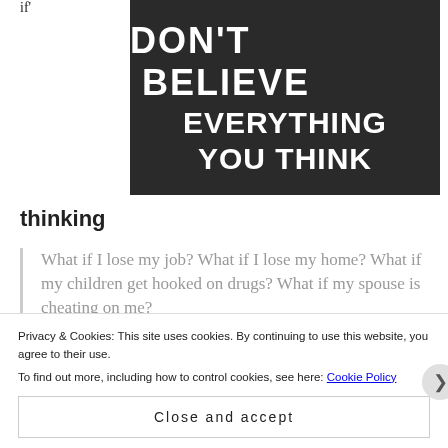if'
[Figure (photo): Dark background image with white bold text reading 'DON'T BELIEVE EVERYTHING YOU THINK']
thinking
What if I lose my job? What if I lose my home? What if my children get hooked on drugs? What if my spouse is cheating on me?
'What if' thinking breeds anxiety and fear. Sometimes this even turns into a self
Privacy & Cookies: This site uses cookies. By continuing to use this website, you agree to their use.
To find out more, including how to control cookies, see here: Cookie Policy
Close and accept